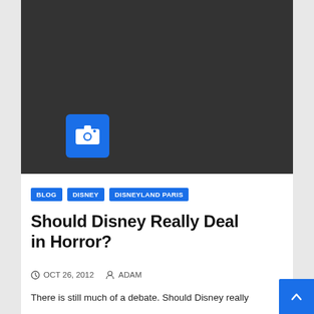[Figure (photo): Dark grey/black image placeholder with a blue camera icon badge in the lower left area]
BLOG
DISNEY
DISNEYLAND PARIS
Should Disney Really Deal in Horror?
OCT 26, 2012  ADAM
There is still much of a debate. Should Disney really